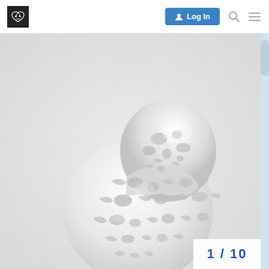Logo | Log In | Search | Menu
[Figure (photo): A white 3D-printed or ceramic sculpture of a bird (likely a budgie/parakeet) with an intricate Voronoi lattice pattern carved through its body, photographed against a light gray background. The sculpture shows the bird's head and body with numerous organic holes and interconnected struts creating a lace-like structure.]
1 / 10